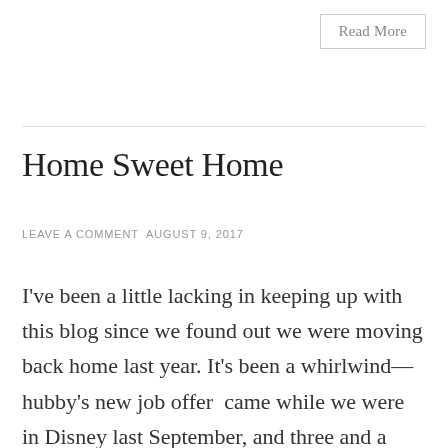Read More
Home Sweet Home
LEAVE A COMMENT AUGUST 9, 2017
I've been a little lacking in keeping up with this blog since we found out we were moving back home last year. It's been a whirlwind—hubby's new job offer  came while we were in Disney last September, and three and a half weeks later we were